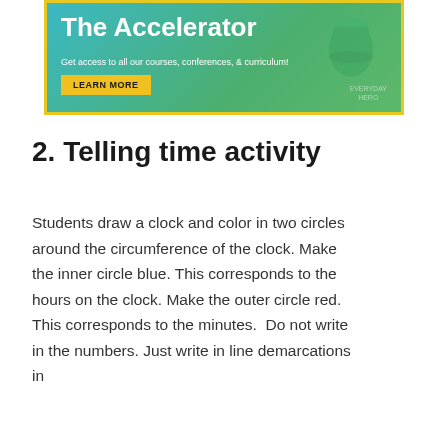[Figure (infographic): Banner advertisement for 'The Accelerator' with teal-to-green gradient background, yellow border, subtitle 'Get access to all our courses, conferences, & curriculum!', and a yellow 'LEARN MORE' button. A green mug graphic is visible on the right with 'EVERYDAY HERO' text watermark.]
2. Telling time activity
Students draw a clock and color in two circles around the circumference of the clock. Make the inner circle blue. This corresponds to the hours on the clock. Make the outer circle red. This corresponds to the minutes.  Do not write in the numbers. Just write in line demarcations in